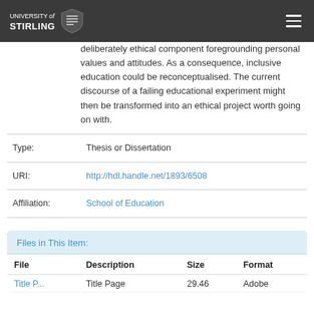UNIVERSITY of STIRLING
deliberately ethical component foregrounding personal values and attitudes. As a consequence, inclusive education could be reconceptualised. The current discourse of a failing educational experiment might then be transformed into an ethical project worth going on with.
|  |  |
| --- | --- |
| Type: | Thesis or Dissertation |
| URI: | http://hdl.handle.net/1893/6508 |
| Affiliation: | School of Education |
Files in This Item:
| File | Description | Size | Format |
| --- | --- | --- | --- |
| Title P... | Title Page | 29.46 | Adobe |